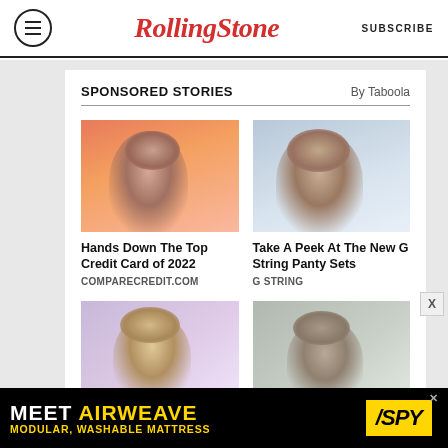RollingStone  SUBSCRIBE
SPONSORED STORIES  By Taboola
[Figure (photo): Young woman with dark hair in pink/orange striped top holding a credit card]
Hands Down The Top Credit Card of 2022
COMPARECREDIT.COM
[Figure (photo): Smiling woman with long dark hair and bare shoulders]
Take A Peek At The New G String Panty Sets
G STRING
[Figure (photo): Blonde woman with curly hair and glamorous makeup]
[Figure (photo): Elderly man sleeping in armchair]
[Figure (photo): Meet Airweave advertisement banner — MEET AIRWEAVE MODULAR, WASHABLE MATTRESS with SPY logo]